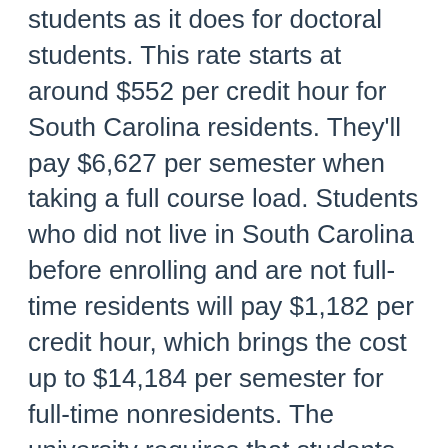students as it does for doctoral students. This rate starts at around $552 per credit hour for South Carolina residents. They'll pay $6,627 per semester when taking a full course load. Students who did not live in South Carolina before enrolling and are not full-time residents will pay $1,182 per credit hour, which brings the cost up to $14,184 per semester for full-time nonresidents. The university requires that students have health insurance coverage. It offers plans for students for $2,020, which provides them with a year of coverage.
Students who complete the FAFSA can easily find out if they can borrow money from the